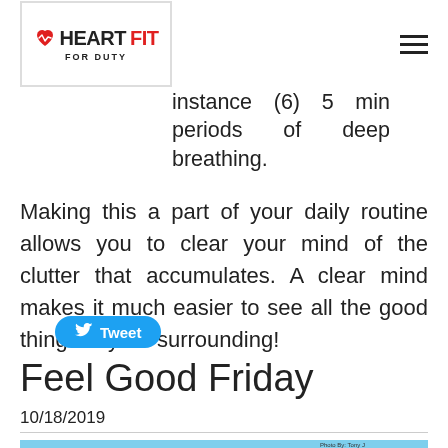HeartFit For Duty
utes of some form of Mindfulness, broken up into increments, for instance (6) 5 min periods of deep breathing.
Making this a part of your daily routine allows you to clear your mind of the clutter that accumulates. A clear mind makes it much easier to see all the good things in your surrounding!
[Figure (other): Tweet button with Twitter bird icon]
Feel Good Friday
10/18/2019
[Figure (photo): Landscape photo of rocky terrain with blue sky, labeled Photo By: Tony J]